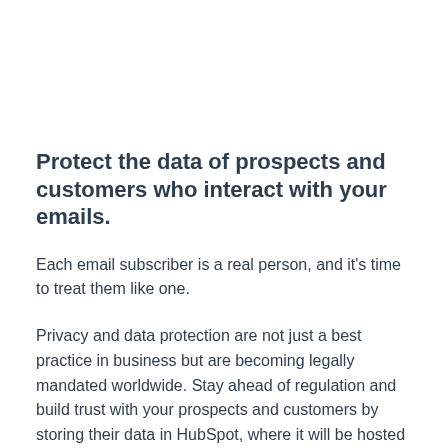Protect the data of prospects and customers who interact with your emails.
Each email subscriber is a real person, and it's time to treat them like one.
Privacy and data protection are not just a best practice in business but are becoming legally mandated worldwide. Stay ahead of regulation and build trust with your prospects and customers by storing their data in HubSpot, where it will be hosted by world-